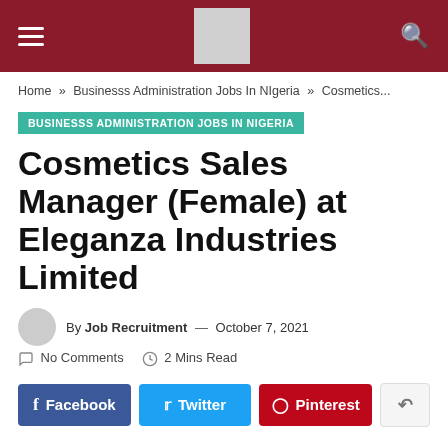Site header with hamburger menu, logo, and search icon
Home » Businesss Administration Jobs In NIgeria » Cosmetics...
BUSINESSS ADMINISTRATION JOBS IN NIGERIA
Cosmetics Sales Manager (Female) at Eleganza Industries Limited
By Job Recruitment — October 7, 2021
No Comments   2 Mins Read
Facebook   Twitter   Pinterest   Share